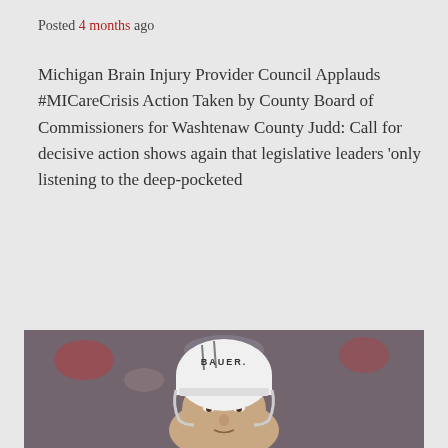Posted 4 months ago
Michigan Brain Injury Provider Council Applauds #MICareCrisis Action Taken by County Board of Commissioners for Washtenaw County Judd: Call for decisive action shows again that legislative leaders ‘only listening to the deep-pocketed
Read More
Information
[Figure (photo): A hockey player wearing a white Bauer helmet, close-up of face, crowd blurred in background]